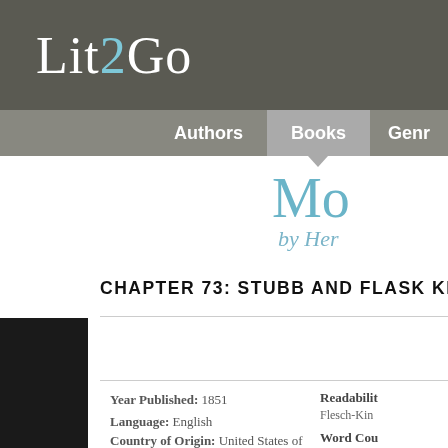Lit2Go
Authors | Books | Genre
Mo... by Her...
CHAPTER 73: STUBB AND FLASK KILL A
Year Published: 1851
Language: English
Country of Origin: United States of America
Readability: Flesch-Kin...
Word Cou...